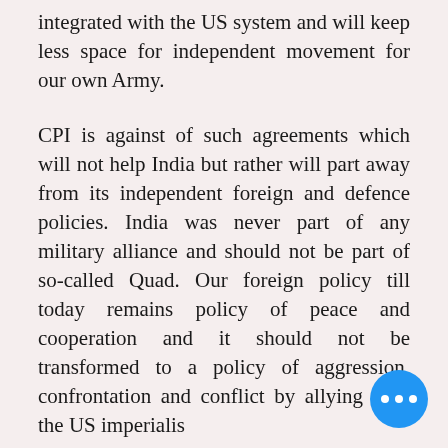integrated with the US system and will keep less space for independent movement for our own Army.
CPI is against of such agreements which will not help India but rather will part away from its independent foreign and defence policies. India was never part of any military alliance and should not be part of so-called Quad. Our foreign policy till today remains policy of peace and cooperation and it should not be transformed to a policy of aggression, confrontation and conflict by allying with the US imperialis...
[Figure (other): Blue circular button with three white dots (more options / chat button) in bottom right corner]